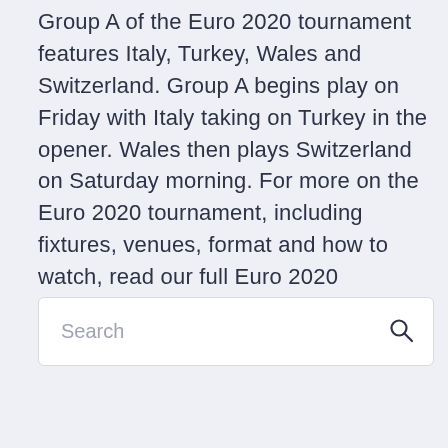Group A of the Euro 2020 tournament features Italy, Turkey, Wales and Switzerland. Group A begins play on Friday with Italy taking on Turkey in the opener. Wales then plays Switzerland on Saturday morning. For more on the Euro 2020 tournament, including fixtures, venues, format and how to watch, read our full Euro 2020 overview. SWITZERLAND vs.
Search